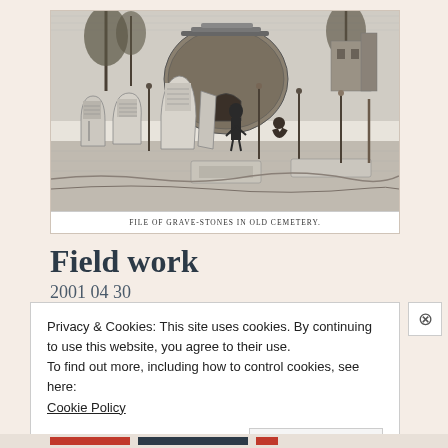[Figure (illustration): Black and white engraving of gravestones in an old cemetery. Several tall grave-stones are visible with two figures near them, and a round tomb structure in the background. Caption reads: FILE OF GRAVE-STONES IN OLD CEMETERY.]
FILE OF GRAVE-STONES IN OLD CEMETERY.
Field work
2001 04 30
Privacy & Cookies: This site uses cookies. By continuing to use this website, you agree to their use.
To find out more, including how to control cookies, see here:
Cookie Policy
Close and accept